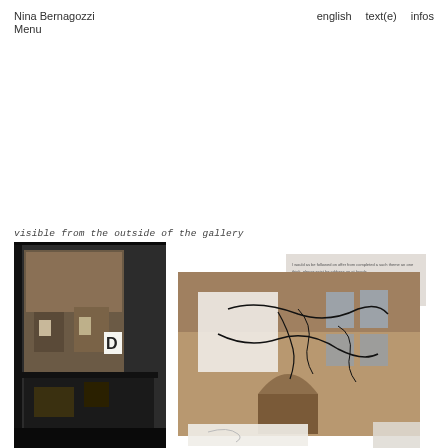Nina Bernagozzi   Menu   english   text(e)   infos
visible from the outside of the gallery
[Figure (photo): View of a building exterior reflected in a gallery window, dark interior framing, architectural details visible]
[Figure (photo): Composite image of building facade with white paper overlays and drawn/scribbled lines, mixed media installation documentation]